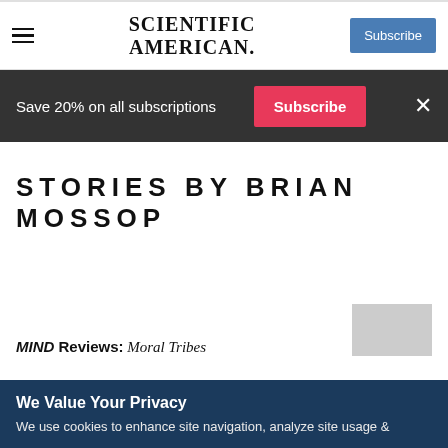SCIENTIFIC AMERICAN
Save 20% on all subscriptions
STORIES BY BRIAN MOSSOP
MIND Reviews: Moral Tribes
We Value Your Privacy
We use cookies to enhance site navigation, analyze site usage &